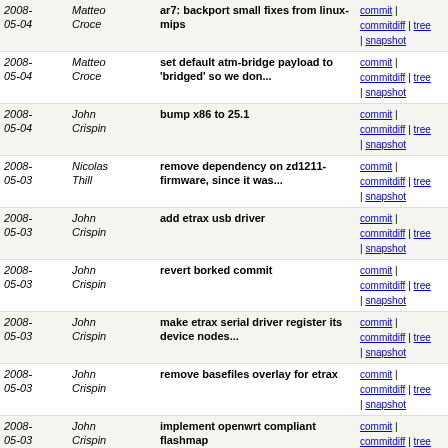| Date | Author | Message | Links |
| --- | --- | --- | --- |
| 2008-05-04 | Matteo Croce | ar7: backport small fixes from linux-mips | commit | commitdiff | tree | snapshot |
| 2008-05-04 | Matteo Croce | set default atm-bridge payload to 'bridged' so we don... | commit | commitdiff | tree | snapshot |
| 2008-05-04 | John Crispin | bump x86 to 25.1 | commit | commitdiff | tree | snapshot |
| 2008-05-03 | Nicolas Thill | remove dependency on zd1211-firmware, since it was... | commit | commitdiff | tree | snapshot |
| 2008-05-03 | John Crispin | add etrax usb driver | commit | commitdiff | tree | snapshot |
| 2008-05-03 | John Crispin | revert borked commit | commit | commitdiff | tree | snapshot |
| 2008-05-03 | John Crispin | make etrax serial driver register its device nodes... | commit | commitdiff | tree | snapshot |
| 2008-05-03 | John Crispin | remove basefiles overlay for etrax | commit | commitdiff | tree | snapshot |
| 2008-05-03 | John Crispin | implement openwrt compliant flashmap | commit | commitdiff | tree | snapshot |
| 2008-05-03 | John Crispin | add support for the flash chip on the fox832 | commit | commitdiff | tree | snapshot |
| 2008-05-03 | Matteo Croce | ar7: add support for bridged ATM in network setup | commit | commitdiff | tree | snapshot |
| 2008-05-03 | Matteo Croce | ar7: enable ethernet driver and use the 2.6.25.1 kernel | commit | commitdiff | tree | snapshot |
| 2008-05-03 | John Crispin | bump etrax to .25.1 | commit | commitdiff | tree | snapshot |
| 2008-05-03 | Felix | upgrade to uci 0.3.4 - extends lua | commit | commitdiff | tree |